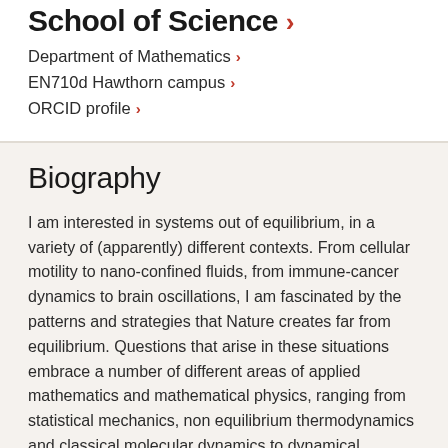School of Science
Department of Mathematics
EN710d Hawthorn campus
ORCID profile
Biography
I am interested in systems out of equilibrium, in a variety of (apparently) different contexts. From cellular motility to nano-confined fluids, from immune-cancer dynamics to brain oscillations, I am fascinated by the patterns and strategies that Nature creates far from equilibrium. Questions that arise in these situations embrace a number of different areas of applied mathematics and mathematical physics, ranging from statistical mechanics, non equilibrium thermodynamics and classical molecular dynamics to dynamical systems, bifurcation theory, PDEs, ODEs and agent-based modeling techniques.